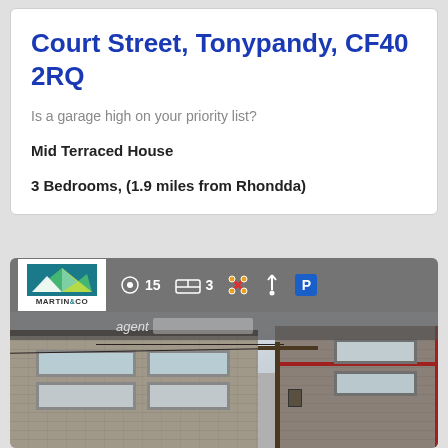Court Street, Tonypandy, CF40 2RQ
Is a garage high on your priority list?
Mid Terraced House
3 Bedrooms, (1.9 miles from Rhondda)
[Figure (photo): Property listing photo showing a mid-terraced house on Court Street, Tonypandy. The image has a toolbar overlay at the top showing the Martin & Co agent logo, photo count (15), bedroom count (3), pet-friendly icon, garden icon, and parking (P) badge. Below is a photograph of the exterior of a stone-built terraced house with white-framed windows.]